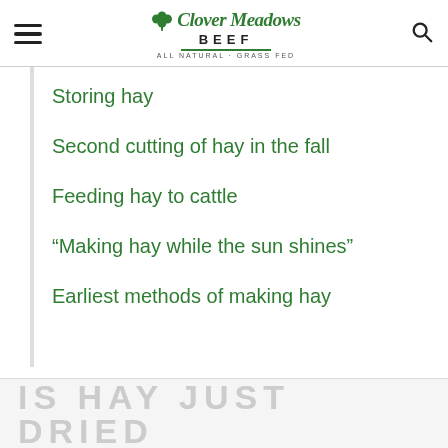Clover Meadows Beef — All Natural · Grass Fed
Storing hay
Second cutting of hay in the fall
Feeding hay to cattle
“Making hay while the sun shines”
Earliest methods of making hay
IS HAY JUST DRIED